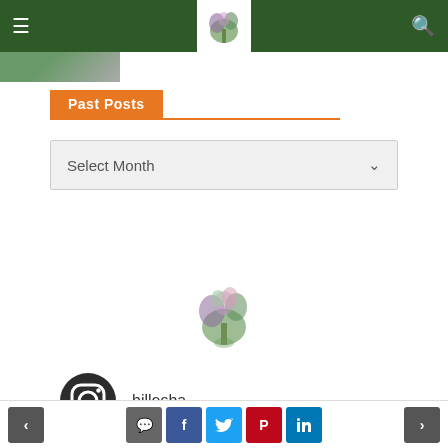Navigation header with hamburger menu, logo, and search icon on dark green background
[Figure (photo): Partial thumbnail image visible at top left below header]
Past Posts
Select Month
[Figure (logo): Floral arrangement logo centered on page]
[Figure (logo): Instagram icon with username hillesha]
hillesha
Navigation footer with prev/next arrows and social share buttons: comment, Facebook, Twitter, Pinterest, LinkedIn